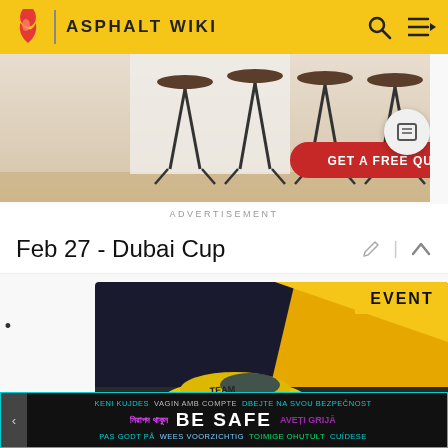ASPHALT WIKI
[Figure (photo): Advertisement image showing bar stools with 'GET A FREE QUOTE' CTA button. Below reads ADVERTISEMENT.]
ADVERTISEMENT
Feb 27 - Dubai Cup
[Figure (screenshot): In-game screenshot showing a yellow sports car with TEAM DREAM livery on a dark race track. 'EVENT' badge top right. Timer shows '1d 23h'. Bottom label reads 'DUBAI CUP'. Close button (X) at bottom right.]
BE SAFE — multilingual safety banner: KENI KUJDES, VAGIN AMB COMPTE, DBEJTE NA SVOU BEZPEČNOST, নিরাপদ থাকুন, BE SAFE, AVEȚI GRIJĂ, PAS GODT PÅ, WEES VOORZICHTIG, TOIMIGE OHUTULT, CUÍDESE